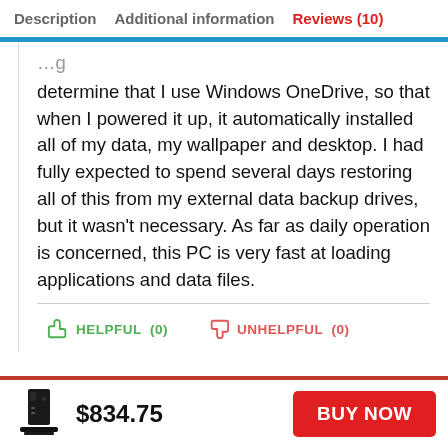Description   Additional information   Reviews (10)
determine that I use Windows OneDrive, so that when I powered it up, it automatically installed all of my data, my wallpaper and desktop. I had fully expected to spend several days restoring all of this from my external data backup drives, but it wasn't necessary. As far as daily operation is concerned, this PC is very fast at loading applications and data files.
HELPFUL (0)   UNHELPFUL (0)
$834.75
BUY NOW